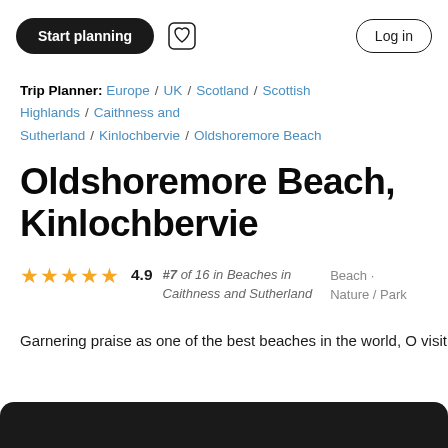Start planning  [heart icon]  Log in
Trip Planner: Europe / UK / Scotland / Scottish Highlands / Caithness and Sutherland / Kinlochbervie / Oldshoremore Beach
Oldshoremore Beach, Kinlochbervie
★★★★★ 4.9  #7 of 16 in Beaches in Caithness and Sutherland   Beach · Nature / Park
Garnering praise as one of the best beaches in the world, O visit from lovers of the sand and sea. Take a stroll along th